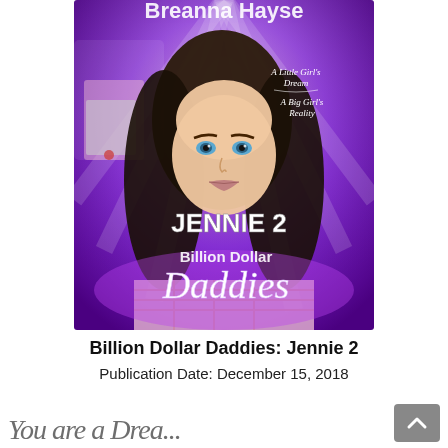[Figure (illustration): Book cover for 'Billion Dollar Daddies: Jennie 2' by Breanna Hayse. Purple/violet background with light rays, young woman with dark hair and green eyes in foreground, man in suit visible at upper left. Text overlays: 'A Little Girl's Dream', 'A Big Girl's Reality', 'JENNIE 2', 'Billion Dollar Daddies' in stylized script.]
Billion Dollar Daddies: Jennie 2
Publication Date: December 15, 2018